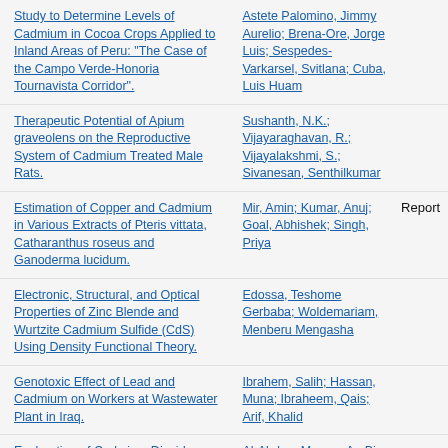| Title | Authors | Type |
| --- | --- | --- |
| Study to Determine Levels of Cadmium in Cocoa Crops Applied to Inland Areas of Peru: "The Case of the Campo Verde-Honoria Tournavista Corridor". | Astete Palomino, Jimmy Aurelio; Brena-Ore, Jorge Luis; Sespedes-Varkarsel, Svitlana; Cuba, Luis Huam |  |
| Therapeutic Potential of Apium graveolens on the Reproductive System of Cadmium Treated Male Rats. | Sushanth, N.K.; Vijayaraghavan, R.; Vijayalakshmi, S.; Sivanesan, Senthilkumar |  |
| Estimation of Copper and Cadmium in Various Extracts of Pteris vittata, Catharanthus roseus and Ganoderma lucidum. | Mir, Amin; Kumar, Anuj; Goal, Abhishek; Singh, Priya | Report |
| Electronic, Structural, and Optical Properties of Zinc Blende and Wurtzite Cadmium Sulfide (CdS) Using Density Functional Theory. | Edossa, Teshome Gerbaba; Woldemariam, Menberu Mengasha |  |
| Genotoxic Effect of Lead and Cadmium on Workers at Wastewater Plant in Iraq. | Ibrahem, Salih; Hassan, Muna; Ibraheem, Qais; Arif, Khalid |  |
| Exploration of Cadmium Dioxide Nanoparticles on Bioaccumulation, Oxidative Stress, and Carcinogenic Potential in Oreochromis | Al-Abdan, Monera A.; Bin-Jumah, May N.; Alarifi, Saud |  |